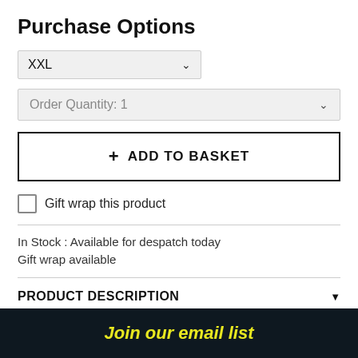Purchase Options
XXL
Order Quantity: 1
+ ADD TO BASKET
Gift wrap this product
In Stock : Available for despatch today
Gift wrap available
PRODUCT DESCRIPTION
PRODUCT ETHICS & TAGS
DELIVERY
Join our email list